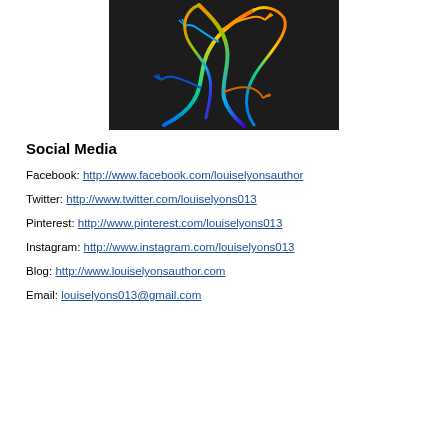[Figure (logo): Colorful rainbow lizard/gecko illustration on a dark/black background]
Social Media
Facebook: http://www.facebook.com/louiselyonsauthor
Twitter: http://www.twitter.com/louiselyons013
Pinterest: http://www.pinterest.com/louiselyons013
Instagram: http://www.instagram.com/louiselyons013
Blog: http://www.louiselyonsauthor.com
Email: louiselyons013@gmail.com